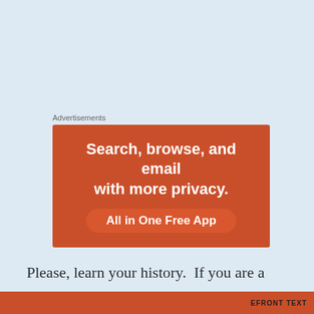Advertisements
[Figure (illustration): Orange advertisement banner with white bold text: 'Search, browse, and email with more privacy.' and a pill button labeled 'All in One Free App']
Please, learn your history.  If you are a Christian, please learn where your ideas came from.  Try to understand the context, the subtleties, and even the blatant cultural
Privacy & Cookies: This site uses cookies. By continuing to use this website, you agree to their use.
To find out more, including how to control cookies, see here: Cookie Policy
Close and accept